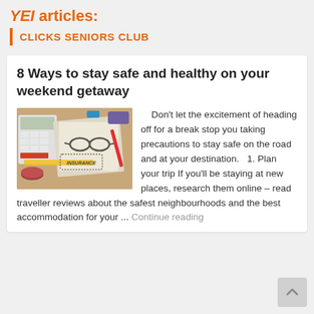YEI articles:
CLICKS SENIORS CLUB
8 Ways to stay safe and healthy on your weekend getaway
[Figure (photo): Desk top with a calculator, glasses, tape measure, pen, coffee cup, travel/insurance documents and an INSURANCE stamp visible]
Don't let the excitement of heading off for a break stop you taking precautions to stay safe on the road and at your destination.   1. Plan your trip If you'll be staying at new places, research them online – read traveller reviews about the safest neighbourhoods and the best accommodation for your ... Continue reading